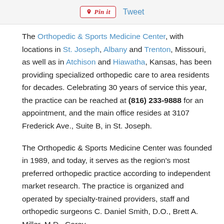Pin it  Tweet
The Orthopedic & Sports Medicine Center, with locations in St. Joseph, Albany and Trenton, Missouri, as well as in Atchison and Hiawatha, Kansas, has been providing specialized orthopedic care to area residents for decades. Celebrating 30 years of service this year, the practice can be reached at (816) 233-9888 for an appointment, and the main office resides at 3107 Frederick Ave., Suite B, in St. Joseph.
The Orthopedic & Sports Medicine Center was founded in 1989, and today, it serves as the region's most preferred orthopedic practice according to independent market research. The practice is organized and operated by specialty-trained providers, staff and orthopedic surgeons C. Daniel Smith, D.O., Brett A. Miller, M.D., Corey…